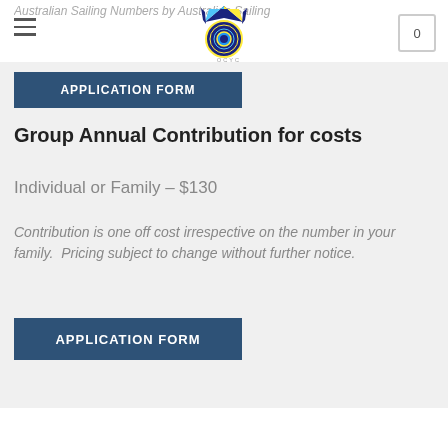Australian Sailing Numbers by Australian Sailing
[Figure (logo): QCYC sailing club logo with crossed flags and circular emblem]
APPLICATION FORM
Group Annual Contribution for costs
Individual or Family – $130
Contribution is one off cost irrespective on the number in your family.  Pricing subject to change without further notice.
APPLICATION FORM